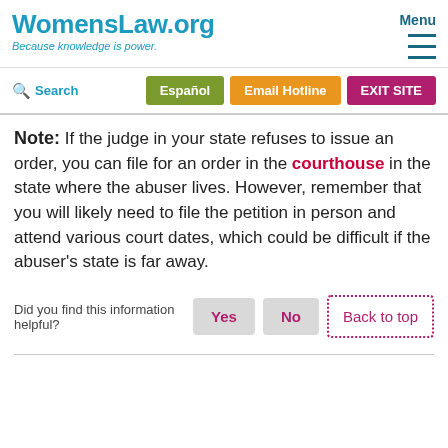WomensLaw.org — Because knowledge is power.
Note: If the judge in your state refuses to issue an order, you can file for an order in the courthouse in the state where the abuser lives. However, remember that you will likely need to file the petition in person and attend various court dates, which could be difficult if the abuser's state is far away.
Did you find this information helpful? Yes No Back to top